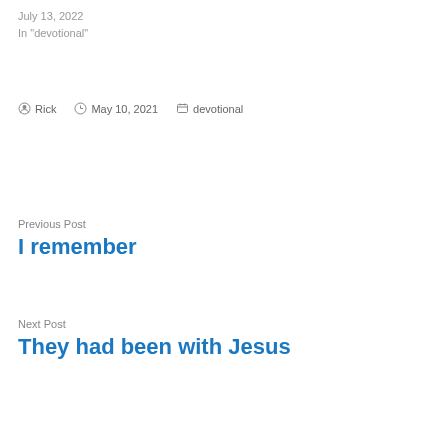July 13, 2022
In "devotional"
By Rick   May 10, 2021   devotional
Previous Post
I remember
Next Post
They had been with Jesus